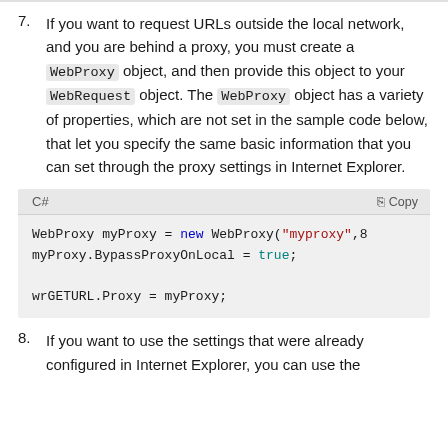7. If you want to request URLs outside the local network, and you are behind a proxy, you must create a WebProxy object, and then provide this object to your WebRequest object. The WebProxy object has a variety of properties, which are not set in the sample code below, that let you specify the same basic information that you can set through the proxy settings in Internet Explorer.
[Figure (screenshot): C# code block with header showing 'C#' and 'Copy' button. Code: WebProxy myProxy = new WebProxy("myproxy",8080); myProxy.BypassProxyOnLocal = true; wrGETURL.Proxy = myProxy;]
8. If you want to use the settings that were already configured in Internet Explorer, you can use the